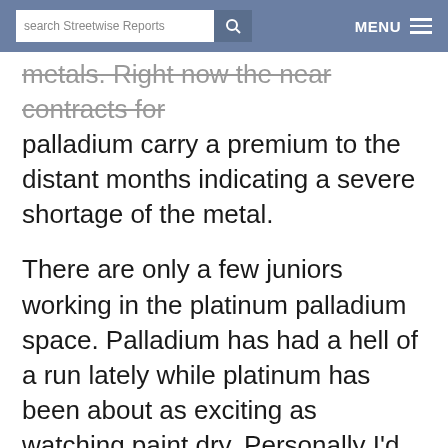search Streetwise Reports | MENU
metals. Right now the near contracts for palladium carry a premium to the distant months indicating a severe shortage of the metal.
There are only a few juniors working in the platinum palladium space. Palladium has had a hell of a run lately while platinum has been about as exciting as watching paint dry. Personally I'd like to see the entire precious metals marketplace have a nice scary correction, bottoms are easier to see. But month after month the metals just keep climbing.